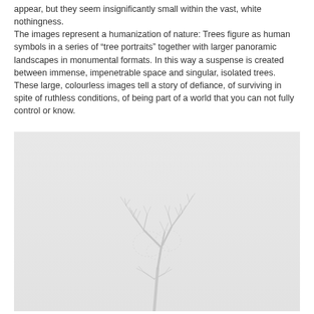appear, but they seem insignificantly small within the vast, white nothingness. The images represent a humanization of nature: Trees figure as human symbols in a series of “tree portraits” together with larger panoramic landscapes in monumental formats. In this way a suspense is created between immense, impenetrable space and singular, isolated trees. These large, colourless images tell a story of defiance, of surviving in spite of ruthless conditions, of being part of a world that you can not fully control or know.
[Figure (photo): A large light grey photograph showing a sparse, bare tree with delicate branches rendered in very faint grey tones against a pale grey-white background, creating an impression of emptiness and minimalism.]